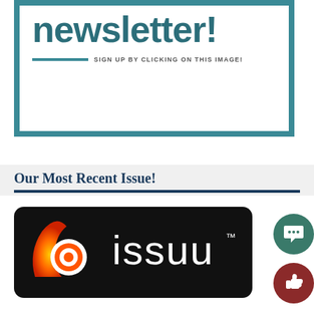[Figure (illustration): Newsletter signup banner with teal border, large bold text 'newsletter!' in teal, decorative horizontal rule, and text 'SIGN UP BY CLICKING ON THIS IMAGE!']
Our Most Recent Issue!
[Figure (logo): Issuu logo on black rounded rectangle background — orange/yellow flame-like icon on left, white text 'issuu' with trademark symbol on right]
[Figure (illustration): Green circular chat/comment button icon]
[Figure (illustration): Dark red circular thumbs-up button icon]